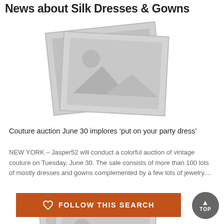News about Silk Dresses & Gowns
[Figure (photo): Placeholder image icon showing two overlapping image frames with mountain and sun icons (top article image)]
Couture auction June 30 implores ‘put on your party dress’
NEW YORK – Jasper52 will conduct a colorful auction of vintage couture on Tuesday, June 30. The sale consists of more than 100 lots of mostly dresses and gowns complemented by a few lots of jewelry....
[Figure (photo): Placeholder image icon showing two overlapping image frames with mountain and sun icons (bottom article image)]
FOLLOW THIS SEARCH